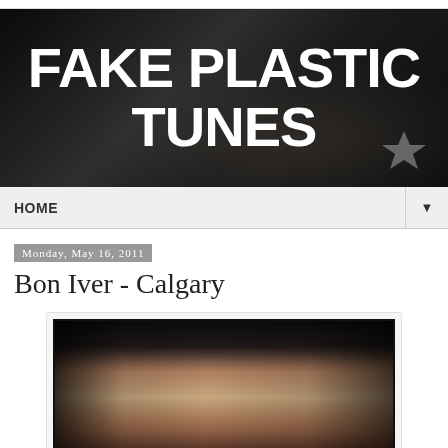[Figure (screenshot): Fake Plastic Tunes blog header banner with large white bold text on dark background with crowd silhouette and Grammy award logo]
HOME ▼
Monday, May 16, 2011
Bon Iver - Calgary
[Figure (photo): Black and white close-up photo of a bearded man with his hand near his face, looking contemplatively downward]